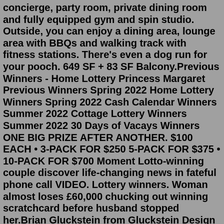concierge, party room, private dining room and fully equipped gym and spin studio. Outside, you can enjoy a dining area, lounge area with BBQs and walking track with fitness stations. There's even a dog run for your pooch. 649 SF + 83 SF Balcony.Previous Winners - Home Lottery Princess Margaret Previous Winners Spring 2022 Home Lottery Winners Spring 2022 Cash Calendar Winners Summer 2022 Cottage Lottery Winners Summer 2022 30 Days of Vacays Winners ONE BIG PRIZE AFTER ANOTHER. $100 EACH • 3-PACK FOR $250 5-PACK FOR $375 • 10-PACK FOR $700 Moment Lotto-winning couple discover life-changing news in fateful phone call VIDEO. Lottery winners. Woman almost loses £60,000 chucking out winning scratchcard before husband stopped her.Brian Gluckstein from Gluckstein Design Planning Inc. joins us today to give a live tour of the $6.6 million grand prize show home. For tickets, call 1-866-631-1234 or go to www.princessmargaretlotto.com. Trending now. 06:00.100 Days of Winning Cash Calendar 3-Pack: